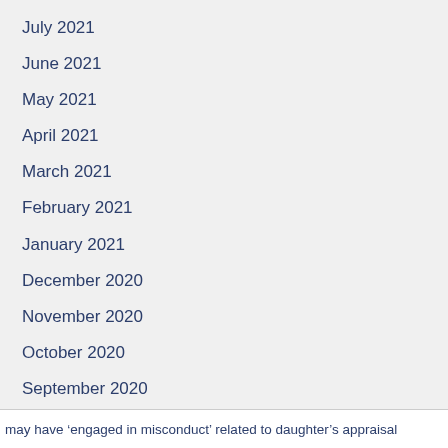July 2021
June 2021
May 2021
April 2021
March 2021
February 2021
January 2021
December 2020
November 2020
October 2020
September 2020
may have ‘engaged in misconduct’ related to daughter’s appraisal